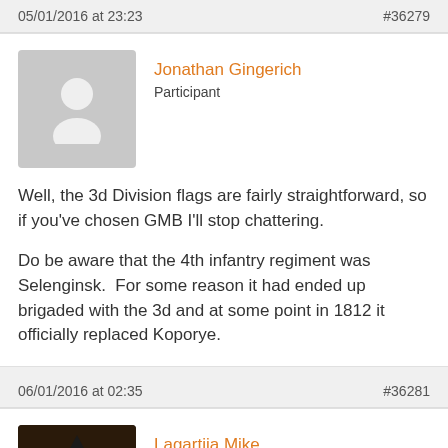05/01/2016 at 23:23    #36279
Jonathan Gingerich
Participant
Well, the 3d Division flags are fairly straightforward, so if you've chosen GMB I'll stop chattering.

Do be aware that the 4th infantry regiment was Selenginsk.  For some reason it had ended up brigaded with the 3d and at some point in 1812 it officially replaced Koporye.
06/01/2016 at 02:35    #36281
Lagartija Mike
Spectator